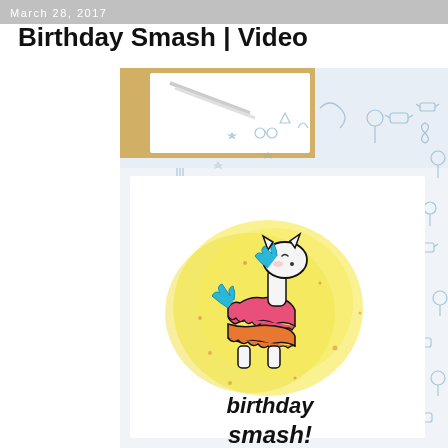March 28, 2017
Birthday Smash | Video
[Figure (photo): Craft card making scene showing a handmade birthday card with a colorful piñata animal (llama/donkey) on a yellow watercolor splash background, surrounded by candy and party-themed stamp images on white paper. The card reads 'birthday' at the bottom. Craft supplies visible in upper portion of image.]